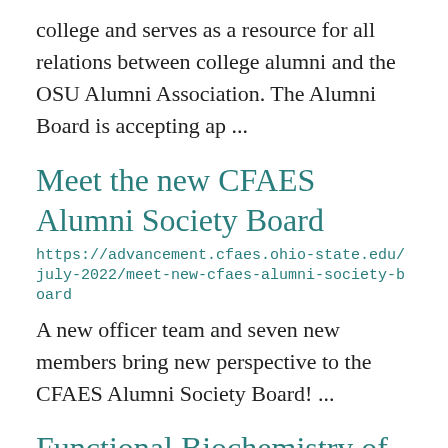college and serves as a resource for all relations between college alumni and the OSU Alumni Association. The Alumni Board is accepting ap ...
Meet the new CFAES Alumni Society Board
https://advancement.cfaes.ohio-state.edu/july-2022/meet-new-cfaes-alumni-society-board
A new officer team and seven new members bring new perspective to the CFAES Alumni Society Board! ...
Functional Biochemistry of Plant Defense